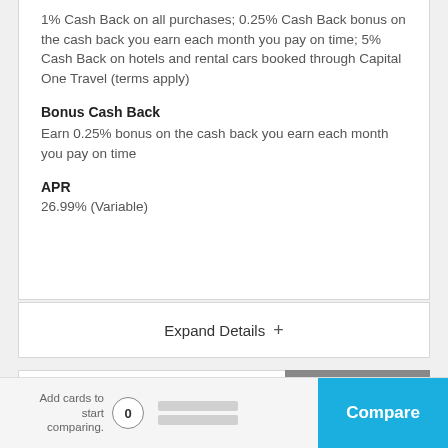1% Cash Back on all purchases; 0.25% Cash Back bonus on the cash back you earn each month you pay on time; 5% Cash Back on hotels and rental cars booked through Capital One Travel (terms apply)
Bonus Cash Back
Earn 0.25% bonus on the cash back you earn each month you pay on time
APR
26.99% (Variable)
Expand Details +
[Figure (screenshot): Chase Freedom Student credit card image with 'NO ANNUAL FEE' badge in top-right corner. Card has blue gradient background with Chase logo and 'freedom STUDENT' text. Also shows 'Back to top' button to the right.]
Add cards to start comparing.
0
Compare